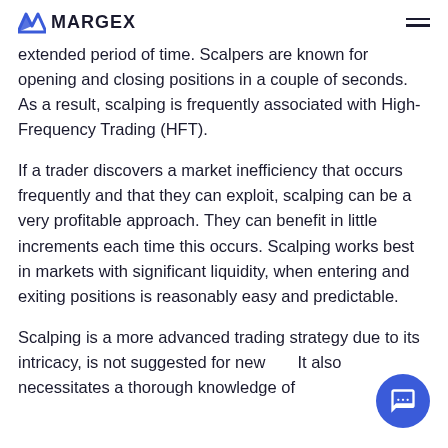MARGEX
extended period of time. Scalpers are known for opening and closing positions in a couple of seconds. As a result, scalping is frequently associated with High-Frequency Trading (HFT).
If a trader discovers a market inefficiency that occurs frequently and that they can exploit, scalping can be a very profitable approach. They can benefit in little increments each time this occurs. Scalping works best in markets with significant liquidity, when entering and exiting positions is reasonably easy and predictable.
Scalping is a more advanced trading strategy due to its intricacy, is not suggested for new... It also necessitates a thorough knowledge of